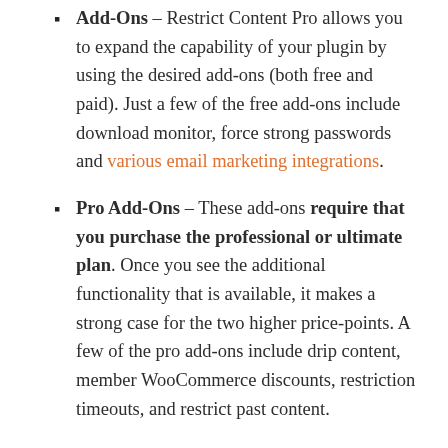Add-Ons – Restrict Content Pro allows you to expand the capability of your plugin by using the desired add-ons (both free and paid). Just a few of the free add-ons include download monitor, force strong passwords and various email marketing integrations.
Pro Add-Ons – These add-ons require that you purchase the professional or ultimate plan. Once you see the additional functionality that is available, it makes a strong case for the two higher price-points. A few of the pro add-ons include drip content, member WooCommerce discounts, restriction timeouts, and restrict past content.
Restrict Content Pro offers 4 pricing options. It's important to pay attention to the features included with